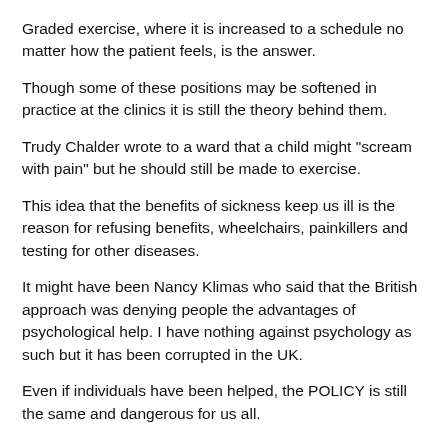Graded exercise, where it is increased to a schedule no matter how the patient feels, is the answer.
Though some of these positions may be softened in practice at the clinics it is still the theory behind them.
Trudy Chalder wrote to a ward that a child might "scream with pain" but he should still be made to exercise.
This idea that the benefits of sickness keep us ill is the reason for refusing benefits, wheelchairs, painkillers and testing for other diseases.
It might have been Nancy Klimas who said that the British approach was denying people the advantages of psychological help. I have nothing against psychology as such but it has been corrupted in the UK.
Even if individuals have been helped, the POLICY is still the same and dangerous for us all.